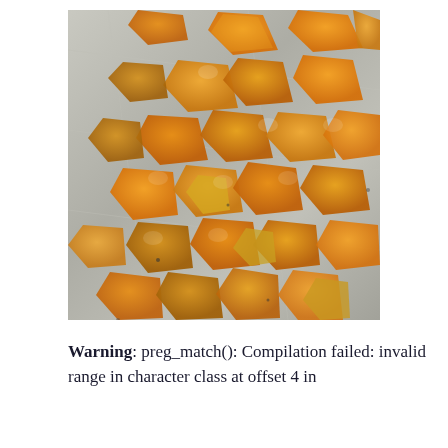[Figure (photo): Photo of roasted butternut squash cubes spread on a foil-lined baking sheet. The pieces are orange and golden-yellow, caramelized, scattered across the silvery foil surface.]
Warning: preg_match(): Compilation failed: invalid range in character class at offset 4 in